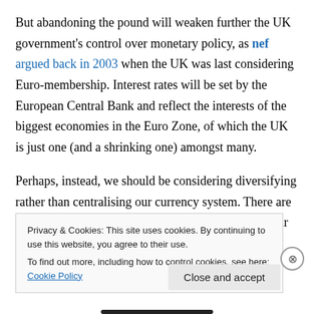But abandoning the pound will weaken further the UK government's control over monetary policy, as nef argued back in 2003 when the UK was last considering Euro-membership. Interest rates will be set by the European Central Bank and reflect the interests of the biggest economies in the Euro Zone, of which the UK is just one (and a shrinking one) amongst many.
Perhaps, instead, we should be considering diversifying rather than centralising our currency system. There are some parallels with the banks here. We now have four
Privacy & Cookies: This site uses cookies. By continuing to use this website, you agree to their use.
To find out more, including how to control cookies, see here: Cookie Policy